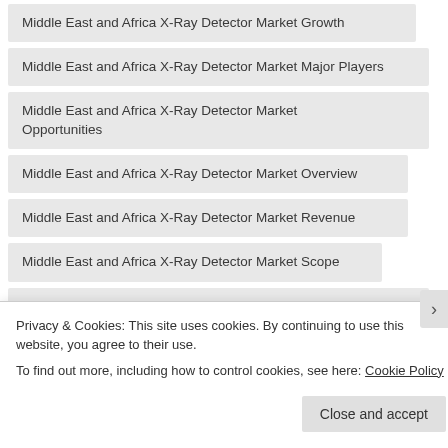Middle East and Africa X-Ray Detector Market Growth
Middle East and Africa X-Ray Detector Market Major Players
Middle East and Africa X-Ray Detector Market Opportunities
Middle East and Africa X-Ray Detector Market Overview
Middle East and Africa X-Ray Detector Market Revenue
Middle East and Africa X-Ray Detector Market Scope
Middle East and Africa X-Ray Detector Market Segmentation
Middle East and Africa X-Ray Detector Market Shares
Privacy & Cookies: This site uses cookies. By continuing to use this website, you agree to their use.
To find out more, including how to control cookies, see here: Cookie Policy
Close and accept